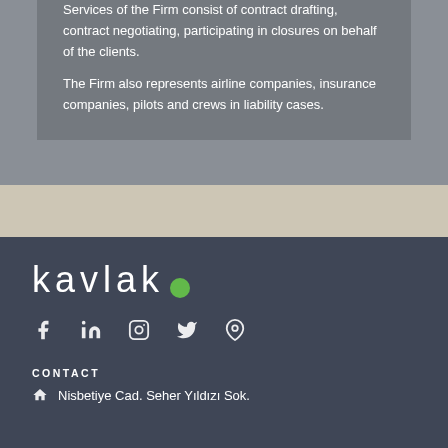Services of the Firm consist of contract drafting, contract negotiating, participating in closures on behalf of the clients.
The Firm also represents airline companies, insurance companies, pilots and crews in liability cases.
[Figure (logo): Kavlak law firm logo — lowercase letters 'kavlak' followed by a green filled circle dot, white text on dark blue-grey background]
[Figure (infographic): Social media icons row: Facebook, LinkedIn, Instagram, Twitter, Location pin — white icons on dark background]
CONTACT
Nisbetiye Cad. Seher Yıldızı Sok.